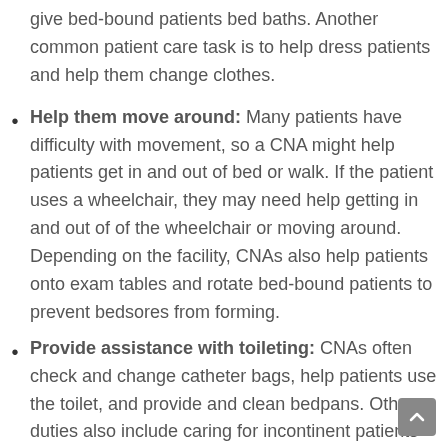give bed-bound patients bed baths. Another common patient care task is to help dress patients and help them change clothes.
Help them move around: Many patients have difficulty with movement, so a CNA might help patients get in and out of bed or walk. If the patient uses a wheelchair, they may need help getting in and out of of the wheelchair or moving around. Depending on the facility, CNAs also help patients onto exam tables and rotate bed-bound patients to prevent bedsores from forming.
Provide assistance with toileting: CNAs often check and change catheter bags, help patients use the toilet, and provide and clean bedpans. Other duties also include caring for incontinent patients by changing their briefs or pads and cleaning the